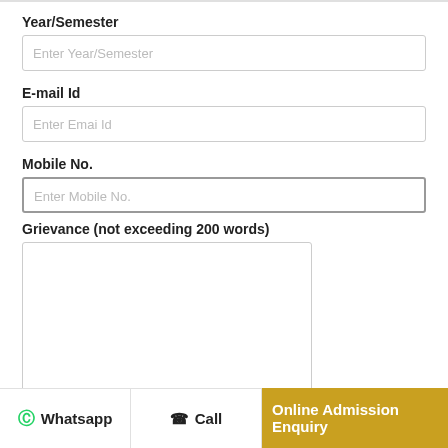Year/Semester
Enter Year/Semester
E-mail Id
Enter Emai Id
Mobile No.
Enter Mobile No.
Grievance (not exceeding 200 words)
Date
Whatsapp
Call
Online Admission Enquiry